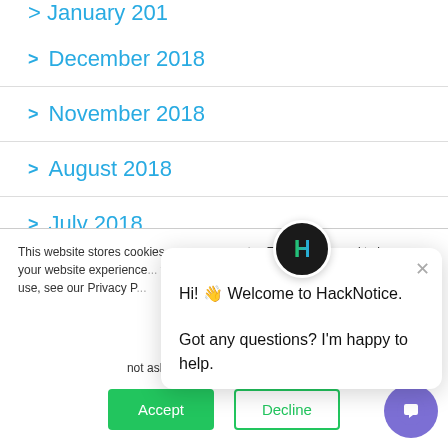January 2019 (partial, cut off at top)
> December 2018
> November 2018
> August 2018
> July 2018
This website stores cookies on your computer. These ... are used to improve your website experience ... you, both on this website and thr... cookies we use, see our Privacy P...
We won't track your ... site. But in order to c... we'll have to use jus... not asked to make this choice again.
[Figure (screenshot): HackNotice chat popup with logo, close button, and welcome message: Hi! Welcome to HackNotice. Got any questions? I'm happy to help.]
Accept
Decline